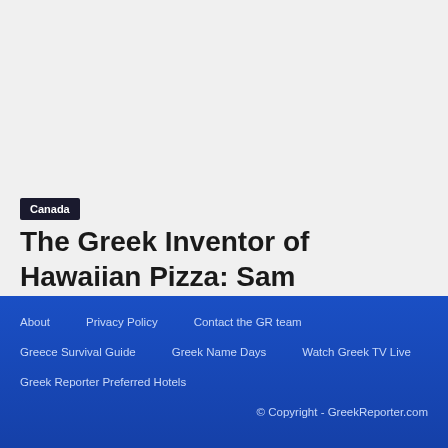Canada
The Greek Inventor of Hawaiian Pizza: Sam Panopoulos
About
Privacy Policy
Contact the GR team
Greece Survival Guide
Greek Name Days
Watch Greek TV Live
Greek Reporter Preferred Hotels
© Copyright - GreekReporter.com